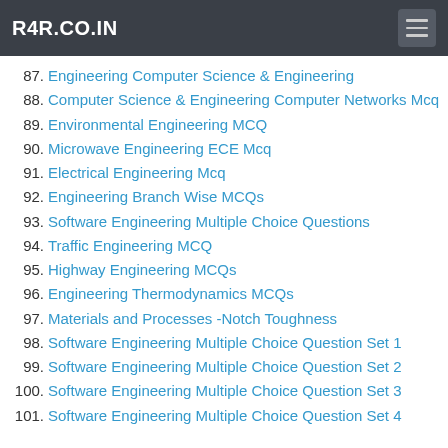R4R.CO.IN
87. Engineering Computer Science & Engineering
88. Computer Science & Engineering Computer Networks Mcq
89. Environmental Engineering MCQ
90. Microwave Engineering ECE Mcq
91. Electrical Engineering Mcq
92. Engineering Branch Wise MCQs
93. Software Engineering Multiple Choice Questions
94. Traffic Engineering MCQ
95. Highway Engineering MCQs
96. Engineering Thermodynamics MCQs
97. Materials and Processes -Notch Toughness
98. Software Engineering Multiple Choice Question Set 1
99. Software Engineering Multiple Choice Question Set 2
100. Software Engineering Multiple Choice Question Set 3
101. Software Engineering Multiple Choice Question Set 4